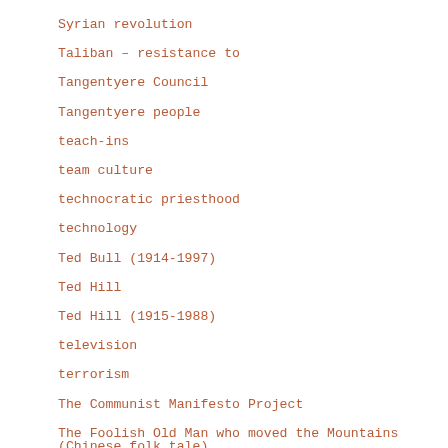Syrian revolution
Taliban – resistance to
Tangentyere Council
Tangentyere people
teach-ins
team culture
technocratic priesthood
technology
Ted Bull (1914-1997)
Ted Hill
Ted Hill (1915-1988)
television
terrorism
The Communist Manifesto Project
The Foolish Old Man who moved the Mountains (Chinese folk tale)
The Free Culture Internationale (2005)
The Great Reversal (book, 1990)